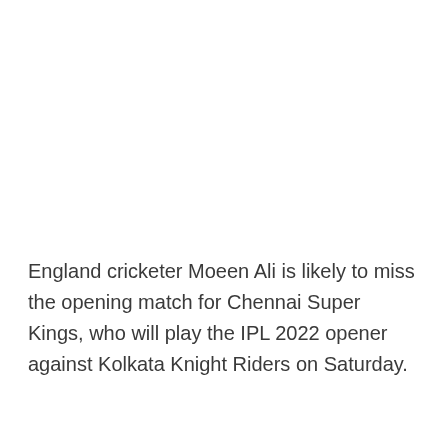England cricketer Moeen Ali is likely to miss the opening match for Chennai Super Kings, who will play the IPL 2022 opener against Kolkata Knight Riders on Saturday.